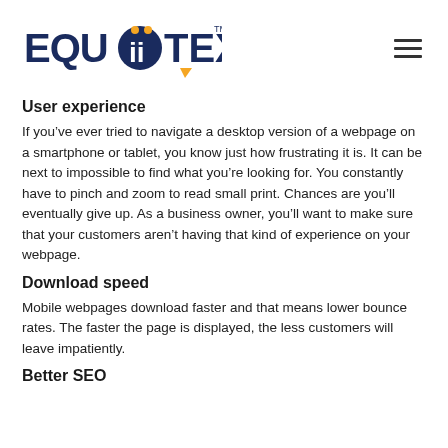EquiiText logo and navigation
User experience
If you’ve ever tried to navigate a desktop version of a webpage on a smartphone or tablet, you know just how frustrating it is. It can be next to impossible to find what you’re looking for. You constantly have to pinch and zoom to read small print. Chances are you’ll eventually give up. As a business owner, you’ll want to make sure that your customers aren’t having that kind of experience on your webpage.
Download speed
Mobile webpages download faster and that means lower bounce rates. The faster the page is displayed, the less customers will leave impatiently.
Better SEO